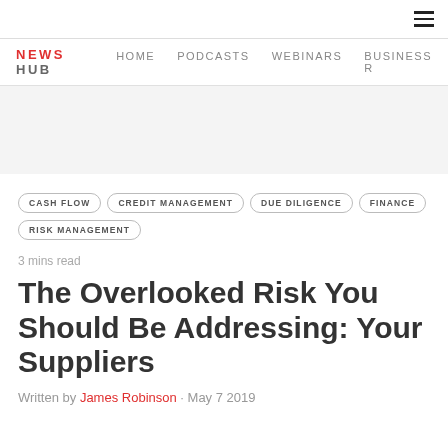NEWS HUB | Home | Podcasts | Webinars | Business R
CASH FLOW
CREDIT MANAGEMENT
DUE DILIGENCE
FINANCE
RISK MANAGEMENT
3 mins read
The Overlooked Risk You Should Be Addressing: Your Suppliers
Written by James Robinson · May 7 2019